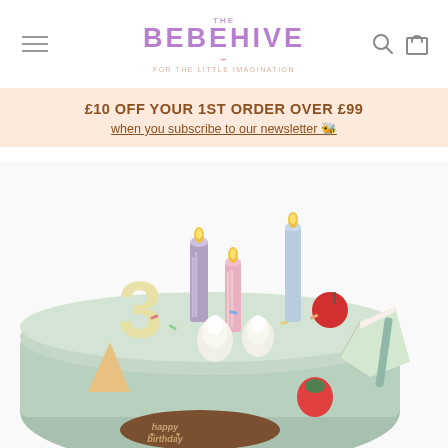THE BEBEHIVE - For the little imagination
£10 OFF YOUR 1ST ORDER OVER £99 when you subscribe to our newsletter 🐝
[Figure (photo): Wooden birthday cake toy with candles, number 3, meringues, cherries and a cake slice — a children's play toy from Little Dutch brand.]